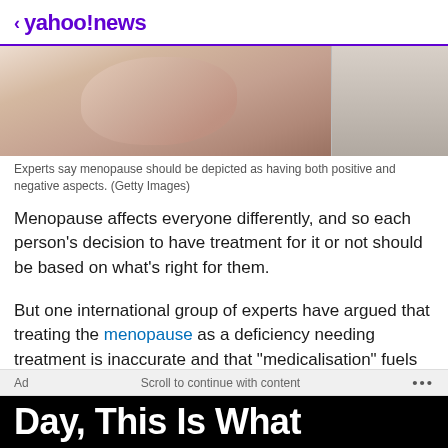< yahoo!news
[Figure (photo): Person in pink clothing covering face with hands, photo partially visible]
Experts say menopause should be depicted as having both positive and negative aspects. (Getty Images)
Menopause affects everyone differently, and so each person's decision to have treatment for it or not should be based on what's right for them.
But one international group of experts have argued that treating the menopause as a deficiency needing treatment is inaccurate and that "medicalisation" fuels negative expectations and perceptions that could be unhelpful for some women.
Ad    Scroll to continue with content    ...
Day, This Is What